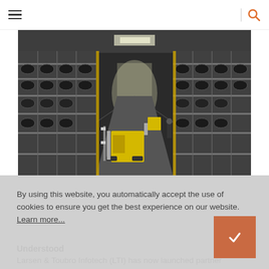Navigation header with hamburger menu and search icon
[Figure (photo): Interior of a large warehouse with tall metal shelving racks filled with tires on both sides, forklifts and workers visible in the aisle, industrial ceiling with skylights]
By using this website, you automatically accept the use of cookies to ensure you get the best experience on our website. Learn more...
Understood
Larsen & Toubro Infotech (LTI) has now launched partner ServiceNow's software-based operational